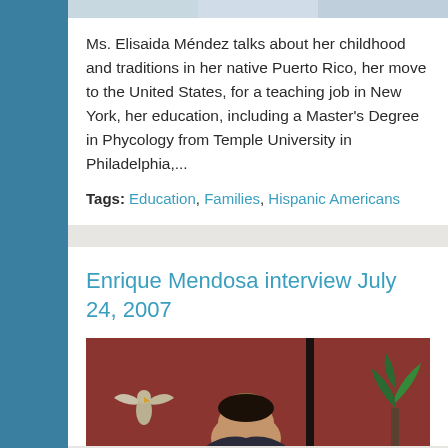[Figure (photo): Cropped top portion of a photo showing a person, visible at the top of the page]
Ms. Elisaida Méndez talks about her childhood and traditions in her native Puerto Rico, her move to the United States, for a teaching job in New York, her education, including a Master's Degree in Phycology from Temple University in Philadelphia,...
Tags: Education, Families, Hispanic Americans
Enrique Mendosa interview July 24, 2007
[Figure (photo): Photo of a person (Enrique Mendosa) in front of a reddish-brown background with decorative items including an eagle figurine and green plant]